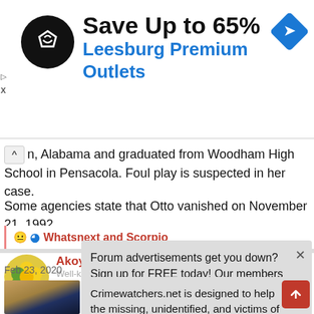[Figure (screenshot): Advertisement banner: Save Up to 65% Leesburg Premium Outlets with logo and navigation icon]
n, Alabama and graduated from Woodham High School in Pensacola. Foul play is suspected in her case.
Some agencies state that Otto vanished on November 21, 1992.
😐 Whatsnext and Scorpio
Akoya
Well-known member
Forum advertisements get you down? Sign up for FREE today! Our members are ad free!
Feb 23, 2020  #3
Crimewatchers.net is designed to help the missing, unidentified, and victims of crime. Our email is crimewatcherscw@gmail.com.